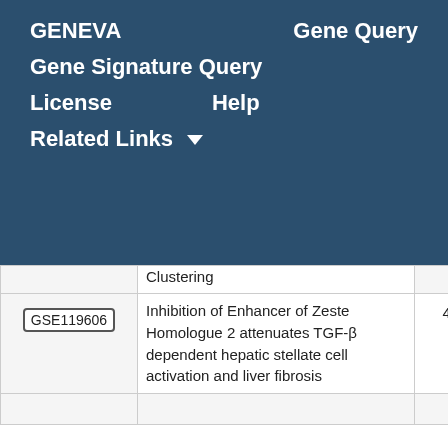GENEVA   Gene Query   Gene Signature Query   License   Help   Related Links
|  | Description | Score |
| --- | --- | --- |
|  | Clustering |  |
| GSE119606 | Inhibition of Enhancer of Zeste Homologue 2 attenuates TGF-β dependent hepatic stellate cell activation and liver fibrosis | 4.49 |
|  |  |  |